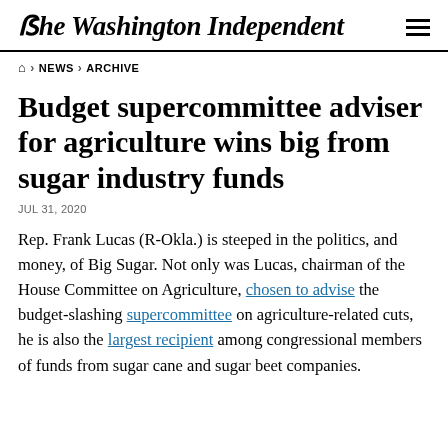The Washington Independent
Home › NEWS › ARCHIVE
Budget supercommittee adviser for agriculture wins big from sugar industry funds
JUL 31, 2020
Rep. Frank Lucas (R-Okla.) is steeped in the politics, and money, of Big Sugar. Not only was Lucas, chairman of the House Committee on Agriculture, chosen to advise the budget-slashing supercommittee on agriculture-related cuts, he is also the largest recipient among congressional members of funds from sugar cane and sugar beet companies.